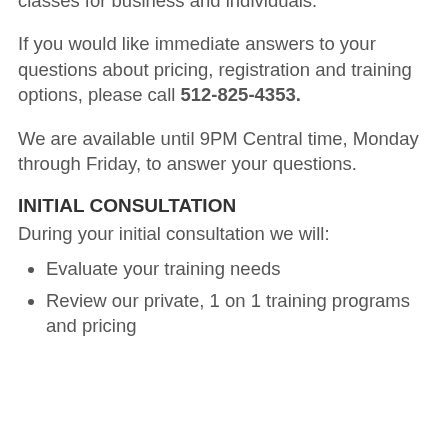consult with you regarding our WordPress training classes for business and individuals.
If you would like immediate answers to your questions about pricing, registration and training options, please call 512-825-4353.
We are available until 9PM Central time, Monday through Friday, to answer your questions.
INITIAL CONSULTATION
During your initial consultation we will:
Evaluate your training needs
Review our private, 1 on 1 training programs and pricing